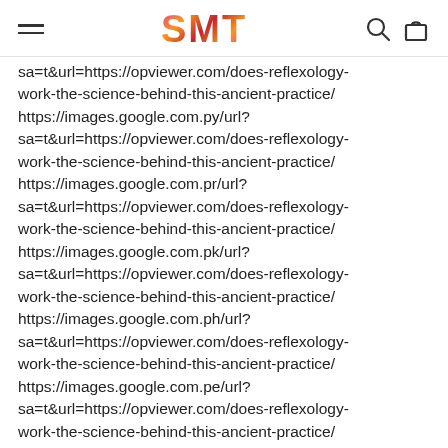SMT
sa=t&url=https://opviewer.com/does-reflexology-work-the-science-behind-this-ancient-practice/ https://images.google.com.py/url? sa=t&url=https://opviewer.com/does-reflexology-work-the-science-behind-this-ancient-practice/ https://images.google.com.pr/url? sa=t&url=https://opviewer.com/does-reflexology-work-the-science-behind-this-ancient-practice/ https://images.google.com.pk/url? sa=t&url=https://opviewer.com/does-reflexology-work-the-science-behind-this-ancient-practice/ https://images.google.com.ph/url? sa=t&url=https://opviewer.com/does-reflexology-work-the-science-behind-this-ancient-practice/ https://images.google.com.pe/url? sa=t&url=https://opviewer.com/does-reflexology-work-the-science-behind-this-ancient-practice/